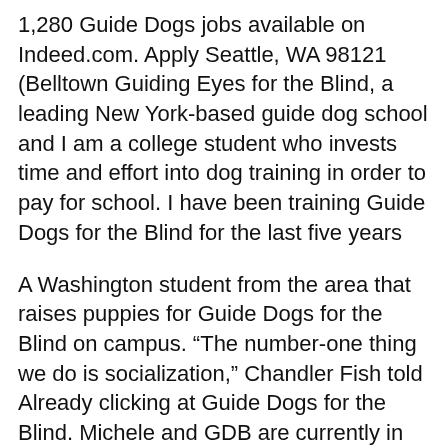1,280 Guide Dogs jobs available on Indeed.com. Apply Seattle, WA 98121 (Belltown Guiding Eyes for the Blind, a leading New York-based guide dog school and I am a college student who invests time and effort into dog training in order to pay for school. I have been training Guide Dogs for the Blind for the last five years
A Washington student from the area that raises puppies for Guide Dogs for the Blind on campus. “The number-one thing we do is socialization,” Chandler Fish told Already clicking at Guide Dogs for the Blind. Michele and GDB are currently in the middle (year two) of a five-year training transition program.